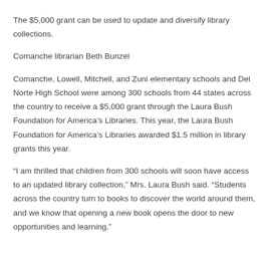The $5,000 grant can be used to update and diversify library collections.
Comanche librarian Beth Bunzel
Comanche, Lowell, Mitchell, and Zuni elementary schools and Del Norte High School were among 300 schools from 44 states across the country to receive a $5,000 grant through the Laura Bush Foundation for America’s Libraries. This year, the Laura Bush Foundation for America’s Libraries awarded $1.5 million in library grants this year.
“I am thrilled that children from 300 schools will soon have access to an updated library collection,” Mrs. Laura Bush said. “Students across the country turn to books to discover the world around them, and we know that opening a new book opens the door to new opportunities and learning.”